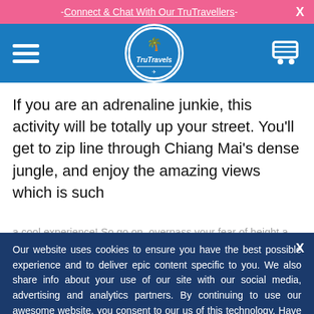- Connect & Chat With Our TruTravellers -
[Figure (logo): TruTravels logo in white circle on blue navigation bar with hamburger menu on left and cart icon on right]
If you are an adrenaline junkie, this activity will be totally up your street. You'll get to zip line through Chiang Mai's dense jungle, and enjoy the amazing views which is such
a cool experience! So go on, overpass your fear of height a...
Our website uses cookies to ensure you have the best possible experience and to deliver epic content specific to you. We also share info about your use of our site with our social media, advertising and analytics partners. By continuing to use our awesome website, you consent to our us of this technology. Have a read of our Privacy Policy to learn more.
ACCEPT